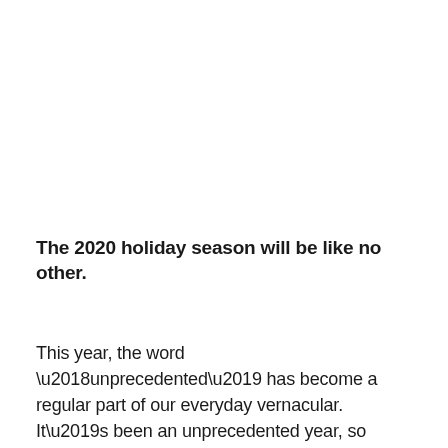The 2020 holiday season will be like no other.
This year, the word ‘unprecedented’ has become a regular part of our everyday vernacular. It’s been an unprecedented year, so it’s no surprise that it would end with an unprecedented holiday